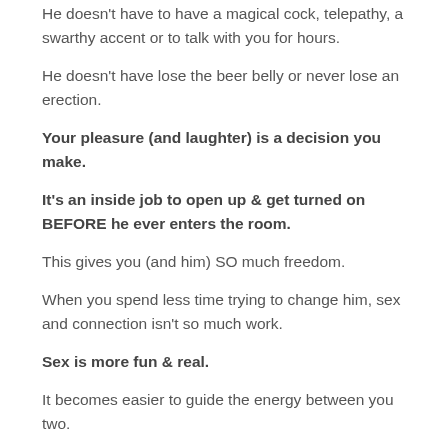He doesn't have to have a magical cock, telepathy, a swarthy accent or to talk with you for hours.
He doesn't have lose the beer belly or never lose an erection.
Your pleasure (and laughter) is a decision you make.
It's an inside job to open up & get turned on BEFORE he ever enters the room.
This gives you (and him) SO much freedom.
When you spend less time trying to change him, sex and connection isn't so much work.
Sex is more fun & real.
It becomes easier to guide the energy between you two.
Less can go wrong, more can go right.